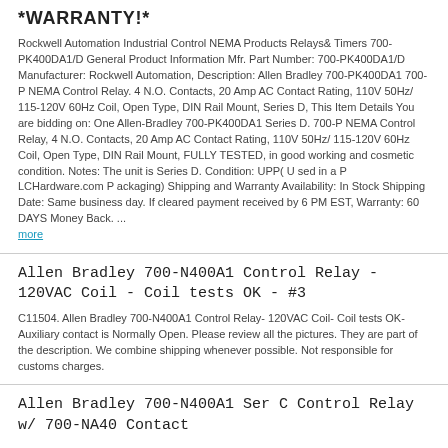*WARRANTY!*
Rockwell Automation Industrial Control NEMA Products Relays& Timers 700-PK400DA1/D General Product Information Mfr. Part Number: 700-PK400DA1/D Manufacturer: Rockwell Automation, Description: Allen Bradley 700-PK400DA1 700-P NEMA Control Relay. 4 N.O. Contacts, 20 Amp AC Contact Rating, 110V 50Hz/ 115-120V 60Hz Coil, Open Type, DIN Rail Mount, Series D, This Item Details You are bidding on: One Allen-Bradley 700-PK400DA1 Series D. 700-P NEMA Control Relay, 4 N.O. Contacts, 20 Amp AC Contact Rating, 110V 50Hz/ 115-120V 60Hz Coil, Open Type, DIN Rail Mount, FULLY TESTED, in good working and cosmetic condition. Notes: The unit is Series D. Condition: UPP( U sed in a P LCHardware.com P ackaging) Shipping and Warranty Availability: In Stock Shipping Date: Same business day. If cleared payment received by 6 PM EST, Warranty: 60 DAYS Money Back. ... more
Allen Bradley 700-N400A1 Control Relay - 120VAC Coil - Coil tests OK - #3
C11504. Allen Bradley 700-N400A1 Control Relay- 120VAC Coil- Coil tests OK- Auxiliary contact is Normally Open. Please review all the pictures. They are part of the description. We combine shipping whenever possible. Not responsible for customs charges.
Allen Bradley 700-N400A1 Ser C Control Relay w/ 700-NA40 Contact